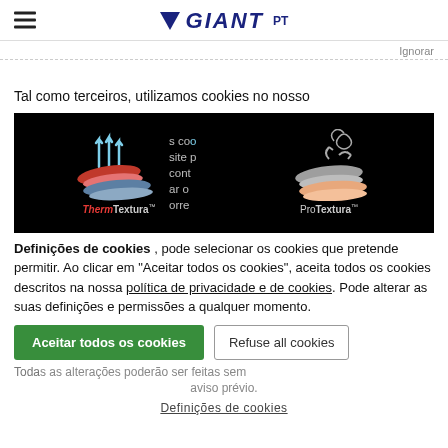GIANT PT
Ignorar
Tal como terceiros, utilizamos cookies no nosso
[Figure (illustration): Black background banner with two product illustrations side by side: left panel shows ThermTextura branded layered fabric with red and blue tones and upward arrows; right panel shows ProTextura branded layered fabric with grey tones and circular arrows. Middle section partially obscured by cookie overlay text.]
Definições de cookies , pode selecionar os cookies que pretende permitir. Ao clicar em "Aceitar todos os cookies", aceita todos os cookies descritos na nossa política de privacidade e de cookies. Pode alterar as suas definições e permissões a qualquer momento.
Aceitar todos os cookies
Refuse all cookies
Todas as alterações de definições e permissões a qualquer momento sem aviso prévio.
Definições de cookies